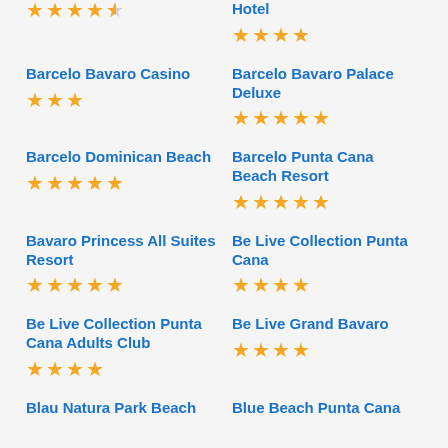(unnamed hotel top-left) ★★★★½
Hotel ★★★★
Barcelo Bavaro Casino ★★★
Barcelo Bavaro Palace Deluxe ★★★★★
Barcelo Dominican Beach ★★★★★
Barcelo Punta Cana Beach Resort ★★★★★
Bavaro Princess All Suites Resort ★★★★★
Be Live Collection Punta Cana ★★★★
Be Live Collection Punta Cana Adults Club ★★★★
Be Live Grand Bavaro ★★★★
Blau Natura Park Beach
Blue Beach Punta Cana